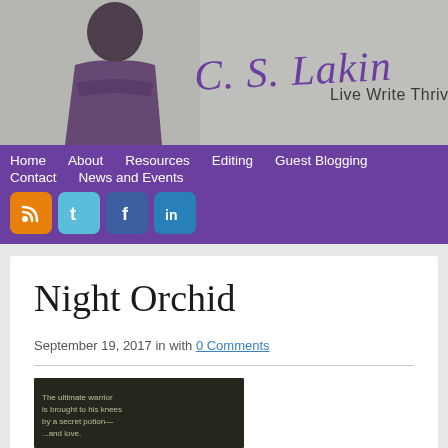[Figure (photo): Website header banner with a woman in purple top leaning against a concrete wall, with cursive text 'C. S. Lakin' and 'Live Write Thrive']
Home   About   Resources   Editing   Guest Blogging   Contact   News and Events
[Figure (logo): Social media icons: RSS (orange), Twitter (light blue), Facebook (blue), LinkedIn (blue)]
Night Orchid
September 19, 2017 in with 0 Comments
[Figure (photo): Dark book cover image for Night Orchid with text overlay]